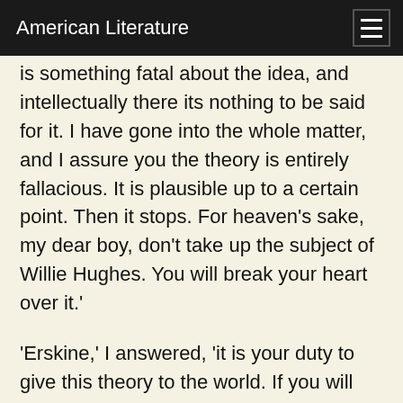American Literature
is something fatal about the idea, and intellectually there its nothing to be said for it. I have gone into the whole matter, and I assure you the theory is entirely fallacious. It is plausible up to a certain point. Then it stops. For heaven's sake, my dear boy, don't take up the subject of Willie Hughes. You will break your heart over it.'
'Erskine,' I answered, 'it is your duty to give this theory to the world. If you will not do it, I will. By keeping it back you wrong the memory of Cyril Graham, the youngest and the most splendid of all the martyrs of literature. I entreat you to do him justice. He died for this thing, don't let his death be